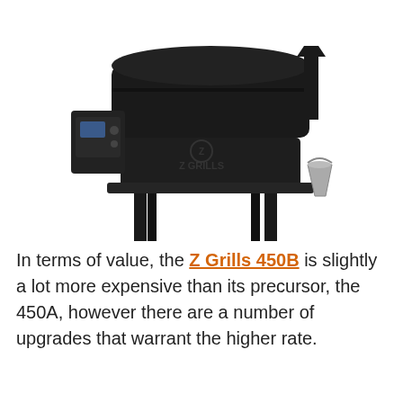[Figure (photo): Black Z Grills 450B pellet grill smoker on legs with wheels, chimney stack on right, control box on left side, drip bucket hanging on right, Z Grills logo visible on lower body, white background.]
In terms of value, the Z Grills 450B is slightly a lot more expensive than its precursor, the 450A, however there are a number of upgrades that warrant the higher rate.